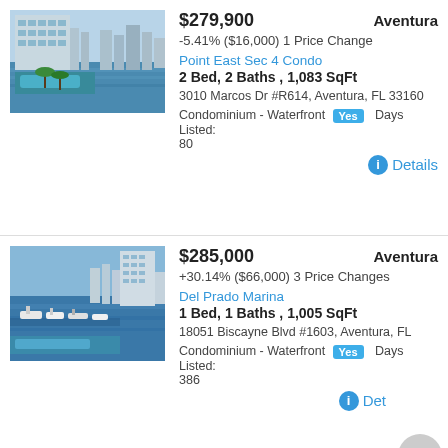[Figure (photo): Waterfront condo complex with pool and palm trees, aerial view]
$279,900 — Aventura
-5.41% ($16,000) 1 Price Change
Point East Sec 4 Condo
2 Bed, 2 Baths , 1,083 SqFt
3010 Marcos Dr #R614, Aventura, FL 33160
Condominium - Waterfront Yes Days Listed: 80
Details
[Figure (photo): Marina with boats and waterfront high-rise condos, Aventura FL]
$285,000 — Aventura
+30.14% ($66,000) 3 Price Changes
Del Prado Marina
1 Bed, 1 Baths , 1,005 SqFt
18051 Biscayne Blvd #1603, Aventura, FL
Condominium - Waterfront Yes Days Listed: 386
Details